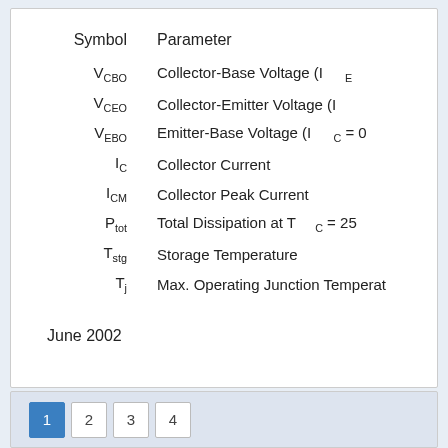| Symbol | Parameter |
| --- | --- |
| V CBO | Collector-Base Voltage (I E |
| V CEO | Collector-Emitter Voltage (I |
| V EBO | Emitter-Base Voltage (I  c = 0 |
| I C | Collector Current |
| I CM | Collector Peak Current |
| P tot | Total Dissipation at T  c = 25 |
| T stg | Storage Temperature |
| T j | Max. Operating Junction Temperature |
June 2002
1  2  3  4